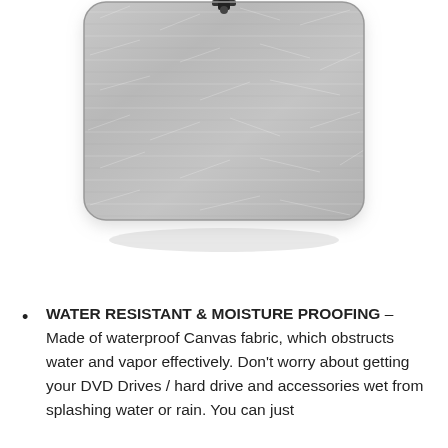[Figure (photo): Bottom portion of a gray heathered canvas bag/sleeve with rounded bottom corners and a zipper pull visible at the top center. The fabric has a textured woven appearance in light gray. A slight shadow is visible beneath the bag.]
View On Amazon
WATER RESISTANT & MOISTURE PROOFING – Made of waterproof Canvas fabric, which obstructs water and vapor effectively. Don't worry about getting your DVD Drives / hard drive and accessories wet from splashing water or rain. You can just